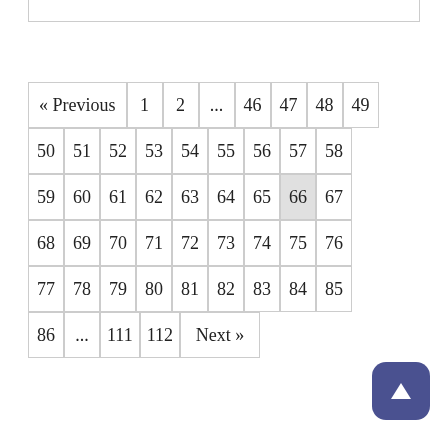[Figure (other): Pagination navigation widget showing page numbers from a website. Current page is 66 (highlighted). Navigation rows: Row 1: « Previous, 1, 2, ..., 46, 47, 48, 49. Row 2: 50-58. Row 3: 59-67 (66 highlighted). Row 4: 68-76. Row 5: 77-85. Row 6: 86, ..., 111, 112, Next »]
[Figure (other): Scroll-to-top button, rounded square, dark blue/indigo, with upward-pointing triangle/arrow icon]